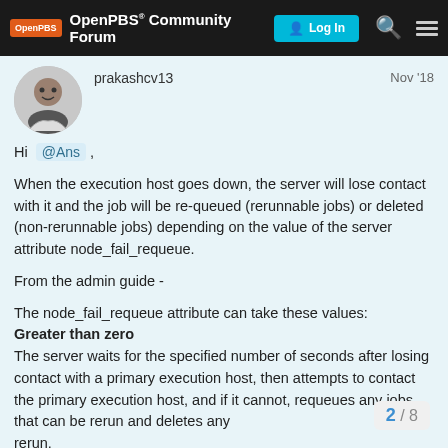OpenPBS® Community Forum — Log In
prakashcv13    Nov '18
Hi @Ans ,

When the execution host goes down, the server will lose contact with it and the job will be re-queued (rerunnable jobs) or deleted (non-rerunnable jobs) depending on the value of the server attribute node_fail_requeue.

From the admin guide -

The node_fail_requeue attribute can take these values:
Greater than zero
The server waits for the specified number of seconds after losing contact with a primary execution host, then attempts to contact the primary execution host, and if it cannot, requeues any jobs that can be rerun and deletes any rerun.
2 / 8